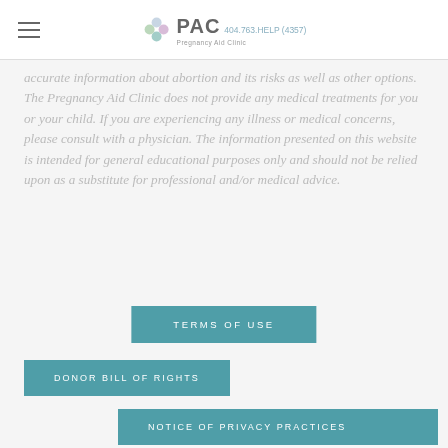PAC Pregnancy Aid Clinic 404.763.HELP (4357)
accurate information about abortion and its risks as well as other options. The Pregnancy Aid Clinic does not provide any medical treatments for you or your child. If you are experiencing any illness or medical concerns, please consult with a physician. The information presented on this website is intended for general educational purposes only and should not be relied upon as a substitute for professional and/or medical advice.
TERMS OF USE
DONOR BILL OF RIGHTS
NOTICE OF PRIVACY PRACTICES